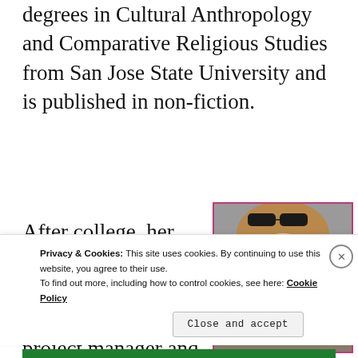degrees in Cultural Anthropology and Comparative Religious Studies from San Jose State University and is published in non-fiction.
After college, her life took an unexpected turn. She’s currently a project manager and technical spec.
[Figure (photo): Headshot of a woman with long blonde hair and sunglasses on her head, smiling, with a pink/magenta border.]
Privacy & Cookies: This site uses cookies. By continuing to use this website, you agree to their use.
To find out more, including how to control cookies, see here: Cookie Policy
Close and accept